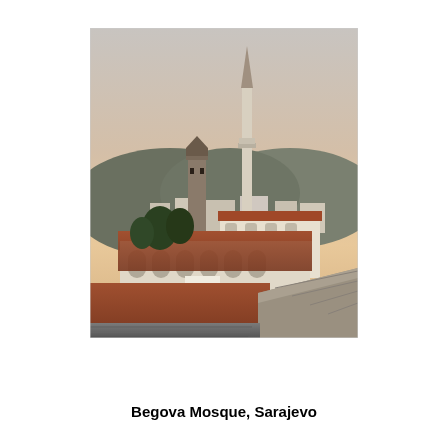[Figure (photo): Aerial/rooftop view of Begova Mosque in Sarajevo at dusk/sunset. The image shows the mosque's white walls and red-tiled rooftops in the foreground, with a tall minaret and an older stone clock tower rising prominently against a warm orange-pink sky. Hills with buildings are visible in the background.]
Begova Mosque, Sarajevo